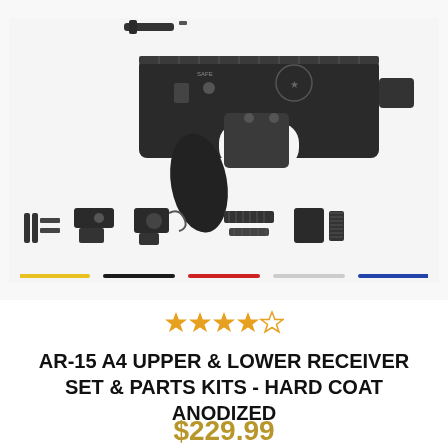[Figure (photo): AR-15 lower receiver with pistol grip and parts kit components laid out, shown on white background with multiple color variant swatches below]
[Figure (other): Star rating showing 4 out of 5 stars in orange/gold color]
AR-15 A4 UPPER & LOWER RECEIVER SET & PARTS KITS - HARD COAT ANODIZED
$229.99